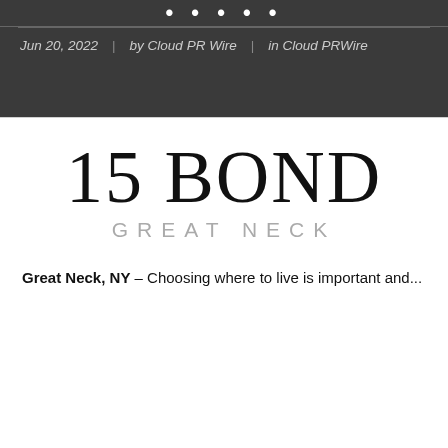Jun 20, 2022 | by Cloud PR Wire | in Cloud PRWire
[Figure (logo): 15 BOND GREAT NECK logo — large serif text '15 BOND' with lighter grey sans-serif 'GREAT NECK' below]
Great Neck, NY – Choosing where to live is important and...